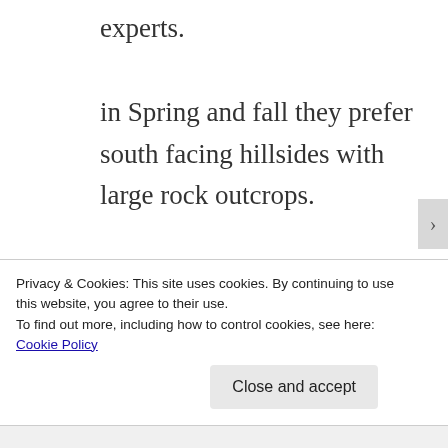experts. in Spring and fall they prefer south facing hillsides with large rock outcrops. Summer months they become nocturnal exploring the grasslands and prairies for food such as lizards, mice, rats, chipmunks, gophers, prairie dogs and other smaller snakes.
Privacy & Cookies: This site uses cookies. By continuing to use this website, you agree to their use. To find out more, including how to control cookies, see here: Cookie Policy
Close and accept